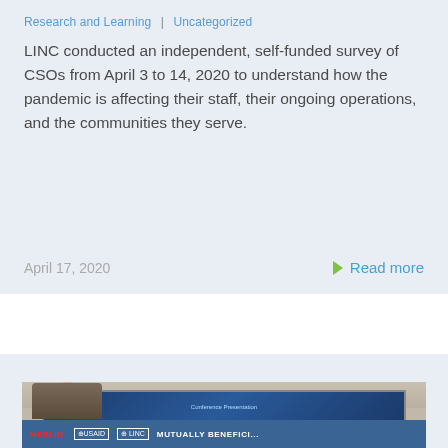Research and Learning | Uncategorized
LINC conducted an independent, self-funded survey of CSOs from April 3 to 14, 2020 to understand how the pandemic is affecting their staff, their ongoing operations, and the communities they serve.
April 17, 2020
Read more
[Figure (photo): Conference room photo showing a presenter/attendee at a MERLIN, USAID, and LINC event with a screen in the background showing 'MUTUALLY BENEFIC...' banner]